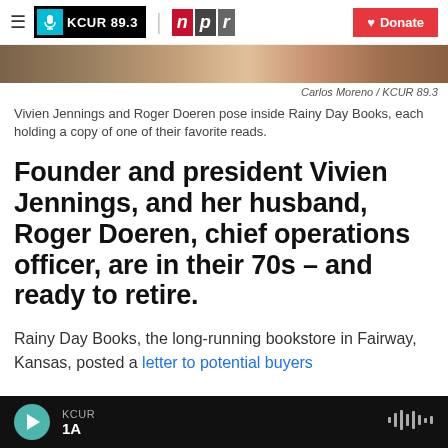KCUR 89.3 | npr | Donate
[Figure (photo): Partial photo of colorful books inside Rainy Day Books bookstore]
Carlos Moreno / KCUR 89.3
Vivien Jennings and Roger Doeren pose inside Rainy Day Books, each holding a copy of one of their favorite reads.
Founder and president Vivien Jennings, and her husband, Roger Doeren, chief operations officer, are in their 70s – and ready to retire.
Rainy Day Books, the long-running bookstore in Fairway, Kansas, posted a letter to potential buyers
KCUR 1A